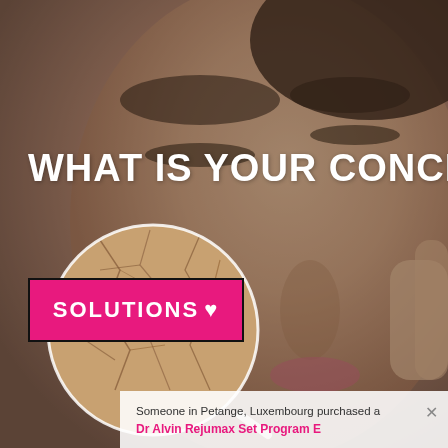[Figure (photo): Close-up of a woman's face with eyes closed, touching her cheek, with a circular magnifier overlay showing cracked dry skin texture. Background is muted warm tones.]
WHAT IS YOUR CONCERN?
SOLUTIONS ♥
Someone in Petange, Luxembourg purchased a Dr Alvin Rejumax Set Program E